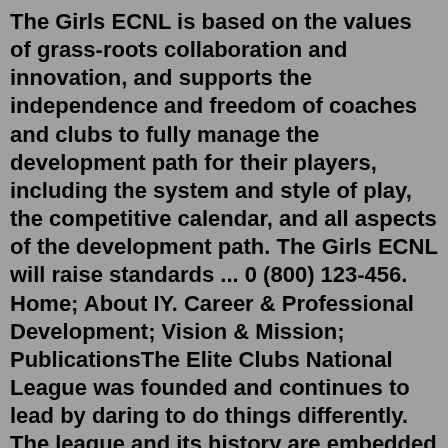The Girls ECNL is based on the values of grass-roots collaboration and innovation, and supports the independence and freedom of coaches and clubs to fully manage the development path for their players, including the system and style of play, the competitive calendar, and all aspects of the development path. The Girls ECNL will raise standards ... 0 (800) 123-456. Home; About IY. Career & Professional Development; Vision & Mission; PublicationsThe Elite Clubs National League was founded and continues to lead by daring to do things differently. The league and its history are embedded with grit, collaboration and tenacity – all things learned from the beautiful game.The ECNL protects and propels the integrity of the game and everyone it impacts by facilitating the perfect symmetry of ... India, USA, UK, Russia, Dubai, Israel ; help@visersoft.com ; Your success is our business The Elite Clubs National League was founded and continues to lead by daring to do things differently. The league and its history are embedded with grit, collaboration and tenacity all